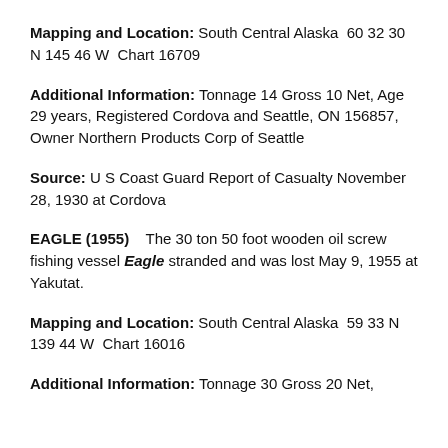Mapping and Location: South Central Alaska  60 32 30 N 145 46 W  Chart 16709
Additional Information: Tonnage 14 Gross 10 Net, Age 29 years, Registered Cordova and Seattle, ON 156857, Owner Northern Products Corp of Seattle
Source: U S Coast Guard Report of Casualty November 28, 1930 at Cordova
EAGLE (1955)    The 30 ton 50 foot wooden oil screw fishing vessel Eagle stranded and was lost May 9, 1955 at Yakutat.
Mapping and Location: South Central Alaska  59 33 N 139 44 W  Chart 16016
Additional Information: Tonnage 30 Gross 20 Net,